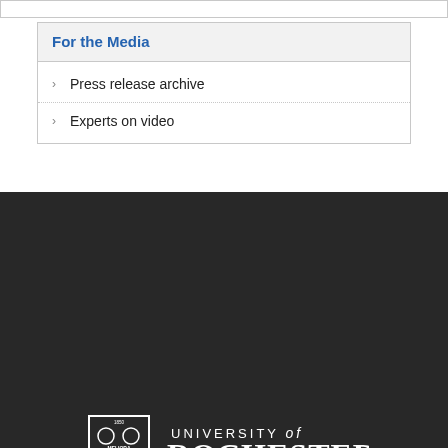For the Media
Press release archive
Experts on video
[Figure (logo): University of Rochester logo with shield and text on dark background]
See maps and directions
Rochester, NY 14627
Search Rochester.edu